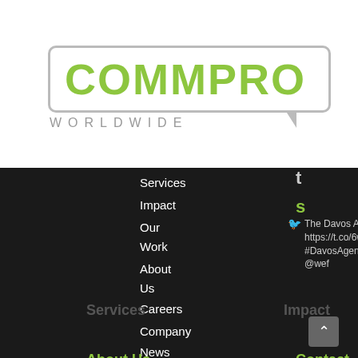[Figure (logo): Commpro Worldwide logo — green uppercase COMMPRO text in a speech bubble outline, with WORLDWIDE in grey below]
Services
Impact
Our Work
About Us
Careers
Company News
Contact
The Davos Agenda https://t.co/6wVVKXEZoi #DavosAgenda via @wef
Exciting news coming out
Puradigm Accepted into the Nations Global Compact First Air Purification Company to